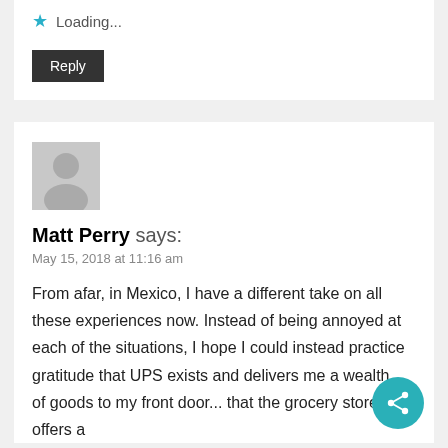★ Loading...
Reply
[Figure (illustration): Grey avatar placeholder showing a silhouette of a person]
Matt Perry says:
May 15, 2018 at 11:16 am
From afar, in Mexico, I have a different take on all these experiences now. Instead of being annoyed at each of the situations, I hope I could instead practice gratitude that UPS exists and delivers me a wealth of goods to my front door... that the grocery store offers a